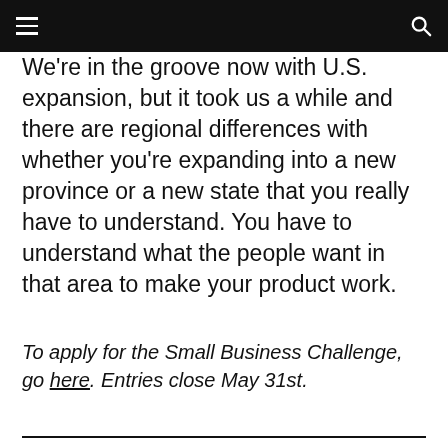≡  🔍
We're in the groove now with U.S. expansion, but it took us a while and there are regional differences with whether you're expanding into a new province or a new state that you really have to understand. You have to understand what the people want in that area to make your product work.
To apply for the Small Business Challenge, go here. Entries close May 31st.
Feature